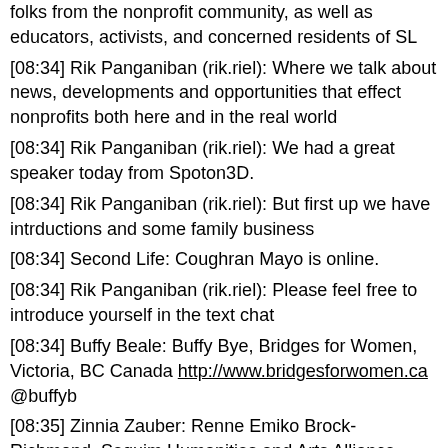folks from the nonprofit community, as well as educators, activists, and concerned residents of SL
[08:34] Rik Panganiban (rik.riel): Where we talk about news, developments and opportunities that effect nonprofits both here and in the real world
[08:34] Rik Panganiban (rik.riel): We had a great speaker today from Spoton3D.
[08:34] Rik Panganiban (rik.riel): But first up we have intrductions and some family business
[08:34] Second Life: Coughran Mayo is online.
[08:34] Rik Panganiban (rik.riel): Please feel free to introduce yourself in the text chat
[08:34] Buffy Beale: Buffy Bye, Bridges for Women, Victoria, BC Canada http://www.bridgesforwomen.ca @buffyb
[08:35] Zinnia Zauber: Renne Emiko Brock-Richmond, Sequim Humanities and Arts Alliance, Sequim, Washington. http://www.sequimartsalliance.org http://www.facebook.com/sequimartsalliance